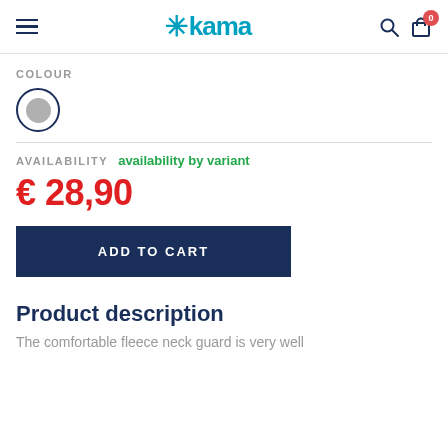kama
COLOUR
[Figure (other): Grey color swatch circle with dark blue border, indicating selected color option]
AVAILABILITY  availability by variant
€ 28,90
ADD TO CART
Product description
The comfortable fleece neck guard is very well